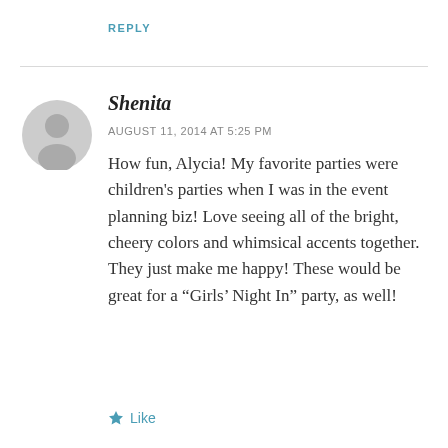REPLY
[Figure (illustration): Generic user avatar placeholder: grey circle with a silhouette of a person's head and shoulders]
Shenita
AUGUST 11, 2014 AT 5:25 PM
How fun, Alycia! My favorite parties were children's parties when I was in the event planning biz! Love seeing all of the bright, cheery colors and whimsical accents together. They just make me happy! These would be great for a “Girls’ Night In” party, as well!
Like